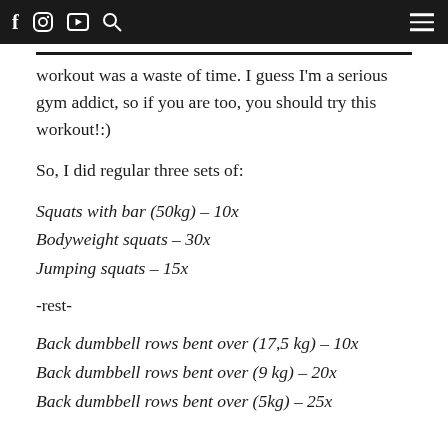f [instagram] [youtube] [search] [menu]
workout was a waste of time. I guess I’m a serious gym addict, so if you are too, you should try this workout!:)
So, I did regular three sets of:
Squats with bar (50kg) – 10x
Bodyweight squats – 30x
Jumping squats – 15x
-rest-
Back dumbbell rows bent over (17,5 kg) – 10x
Back dumbbell rows bent over (9 kg) – 20x
Back dumbbell rows bent over (5kg) – 25x